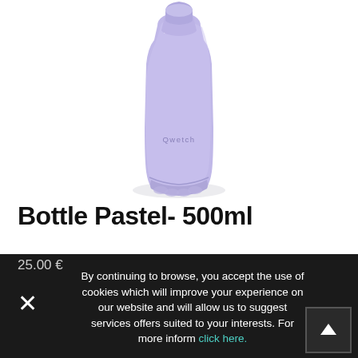[Figure (photo): A pastel lavender/purple Qwetch-branded water bottle (500ml) on a white background. The bottle has a smooth matte finish, a rounded cap, and a scalloped base. The Qwetch brand name is printed on the lower body of the bottle.]
Bottle Pastel- 500ml
25.00 €
By continuing to browse, you accept the use of cookies which will improve your experience on our website and will allow us to suggest services offers suited to your interests. For more inform click here.